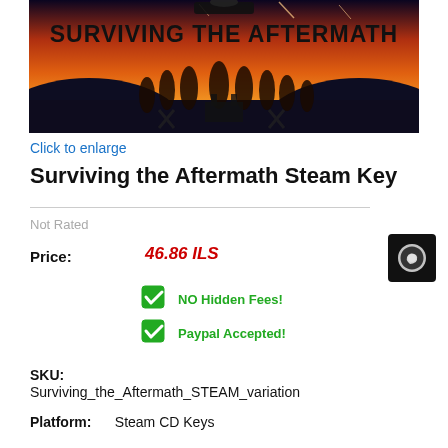[Figure (illustration): Game banner for Surviving the Aftermath showing orange/red post-apocalyptic scene with silhouetted survivors and the title text in bold black letters]
Click to enlarge
Surviving the Aftermath Steam Key
Not Rated
Price: 46.86 ILS
NO Hidden Fees!
Paypal Accepted!
SKU:
Surviving_the_Aftermath_STEAM_variation
Platform: Steam CD Keys